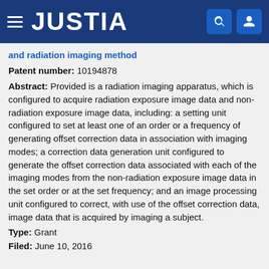JUSTIA
and radiation imaging method
Patent number: 10194878
Abstract: Provided is a radiation imaging apparatus, which is configured to acquire radiation exposure image data and non-radiation exposure image data, including: a setting unit configured to set at least one of an order or a frequency of generating offset correction data in association with imaging modes; a correction data generation unit configured to generate the offset correction data associated with each of the imaging modes from the non-radiation exposure image data in the set order or at the set frequency; and an image processing unit configured to correct, with use of the offset correction data, image data that is acquired by imaging a subject.
Type: Grant
Filed: June 10, 2016